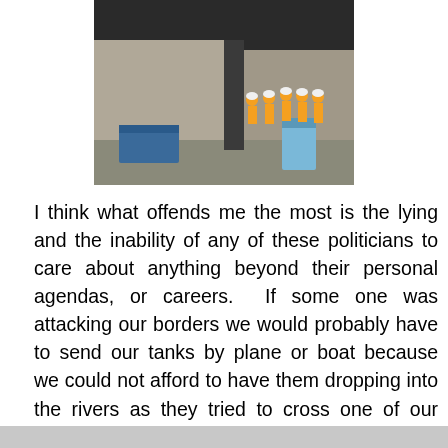[Figure (photo): Construction workers in orange safety vests and hard hats at a construction site, with concrete walls, a blue dumpster, and portable toilet visible.]
I think what offends me the most is the lying and the inability of any of these politicians to care about anything beyond their personal agendas, or careers.  If some one was attacking our borders we would probably have to send our tanks by plane or boat because we could not afford to have them dropping into the rivers as they tried to cross one of our many bridges, or fall onto traffic
Privacy & Cookies: This site uses cookies. By continuing to use this website, you agree to their use.
To find out more, including how to control cookies, see here: Cookie Policy